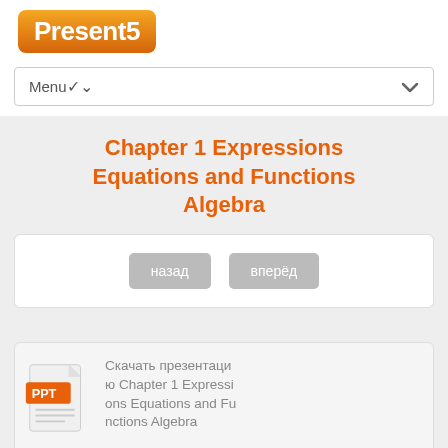[Figure (logo): Present5 logo — orange rounded rectangle with white bold text 'Present5']
Menu
Chapter 1 Expressions Equations and Functions Algebra
назад   вперёд
Скачать презентацию Chapter 1 Expressions Equations and Functions Algebra